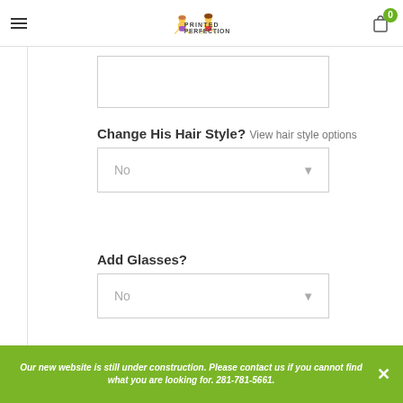Printed Perfection
Change His Hair Style? View hair style options
No
Add Glasses?
No
Our new website is still under construction. Please contact us if you cannot find what you are looking for. 281-781-5661.